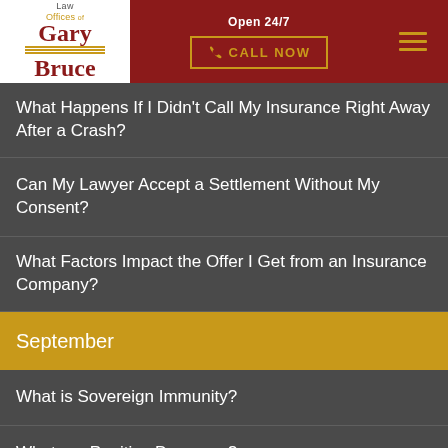[Figure (logo): Law Offices of Gary Bruce logo with Law Offices text above and Gary Bruce in bold serif, gold horizontal lines accent, on white background]
Open 24/7
CALL NOW
What Happens If I Didn't Call My Insurance Right Away After a Crash?
Can My Lawyer Accept a Settlement Without My Consent?
What Factors Impact the Offer I Get from an Insurance Company?
September
What is Sovereign Immunity?
What are Punitive Damages?